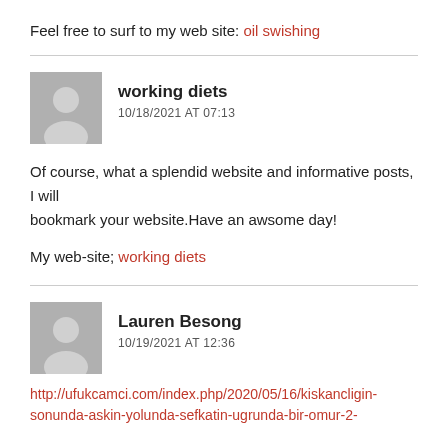Feel free to surf to my web site: oil swishing
working diets
10/18/2021 AT 07:13
Of course, what a splendid website and informative posts, I will bookmark your website.Have an awsome day!
My web-site; working diets
Lauren Besong
10/19/2021 AT 12:36
http://ufukcamci.com/index.php/2020/05/16/kiskancligin-sonunda-askin-yolunda-sefkatin-ugrunda-bir-omur-2-